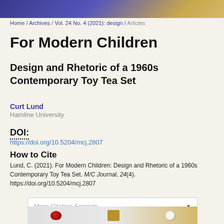[Figure (photo): Top banner image with blue/purple and gold tones]
Home / Archives / Vol. 24 No. 4 (2021): design / Articles
For Modern Children
Design and Rhetoric of a 1960s Contemporary Toy Tea Set
Curt Lund
Hamline University
DOI:
https://doi.org/10.5204/mcj.2807
How to Cite
Lund, C. (2021). For Modern Children: Design and Rhetoric of a 1960s Contemporary Toy Tea Set. M/C Journal, 24(4). https://doi.org/10.5204/mcj.2807
More Citation Formats
[Figure (photo): Photo of toy tea set pieces including red and black pieces, wooden box, and white pieces]